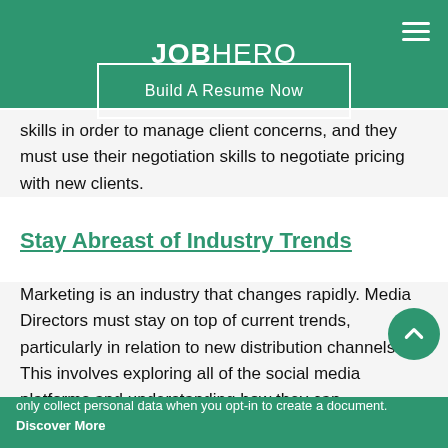JOBHERO
[Figure (other): Build A Resume Now button with white border on green background]
skills in order to manage client concerns, and they must use their negotiation skills to negotiate pricing with new clients.
Stay Abreast of Industry Trends
Marketing is an industry that changes rapidly. Media Directors must stay on top of current trends, particularly in relation to new distribution channels. This involves exploring all of the social media platforms and understanding how they can
With great cookie power comes great responsibility. Our cookies only collect personal data when you opt-in to create a document. Discover More